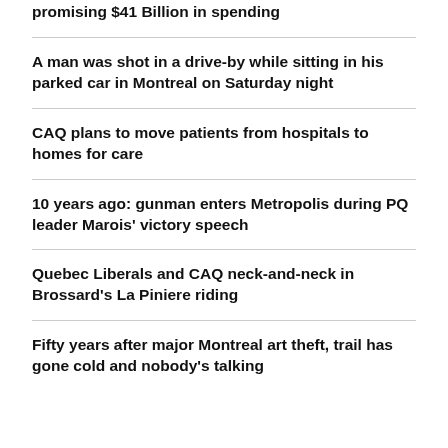promising $41 Billion in spending
A man was shot in a drive-by while sitting in his parked car in Montreal on Saturday night
CAQ plans to move patients from hospitals to homes for care
10 years ago: gunman enters Metropolis during PQ leader Marois' victory speech
Quebec Liberals and CAQ neck-and-neck in Brossard's La Piniere riding
Fifty years after major Montreal art theft, trail has gone cold and nobody's talking